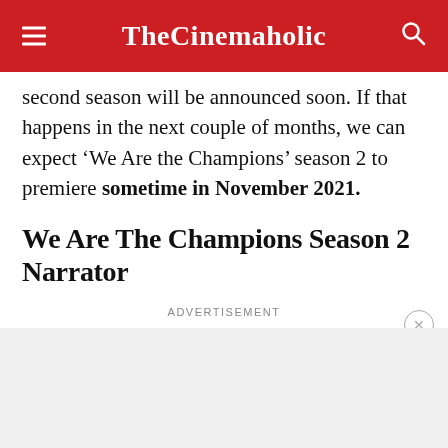TheCinemaholic
second season will be announced soon. If that happens in the next couple of months, we can expect ‘We Are the Champions’ season 2 to premiere sometime in November 2021.
We Are The Champions Season 2 Narrator
ADVERTISEMENT